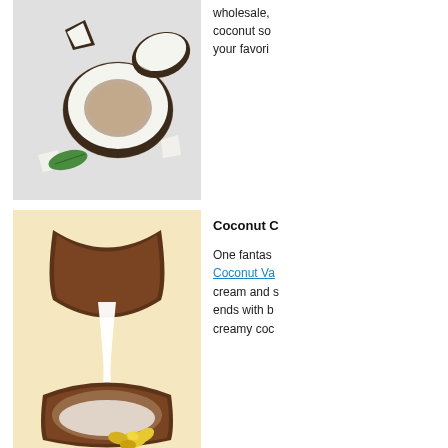[Figure (photo): Top-down view of cracked open coconut halves and pieces with a green leaf on a light gray background]
wholesale, coconut so your favori
[Figure (photo): Coconut cream pouring from a coconut shell half into another coconut half, with a yellow orchid flower, on a cream/yellow background]
Coconut C
One fantastic Coconut Va cream and s ends with b creamy coc